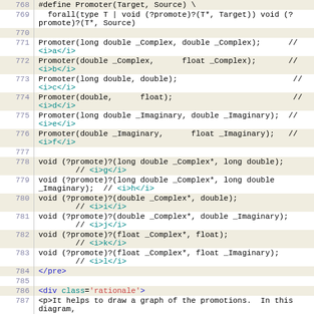Code listing lines 768-788 showing C preprocessor macro Promoter and related void function declarations, followed by HTML markup.